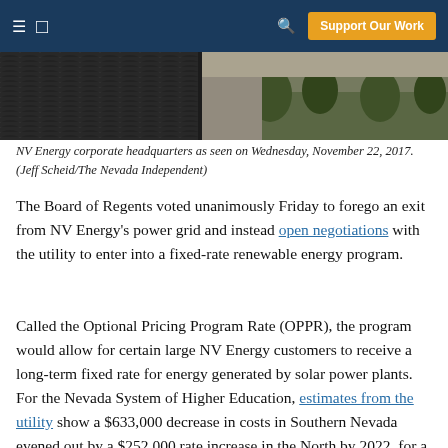≡ [logo] 🔍 Support Our Work
[Figure (photo): Aerial/close-up photo of NV Energy corporate headquarters building with solar panels and trees visible]
NV Energy corporate headquarters as seen on Wednesday, November 22, 2017. (Jeff Scheid/The Nevada Independent)
The Board of Regents voted unanimously Friday to forego an exit from NV Energy's power grid and instead open negotiations with the utility to enter into a fixed-rate renewable energy program.
Called the Optional Pricing Program Rate (OPPR), the program would allow for certain large NV Energy customers to receive a long-term fixed rate for energy generated by solar power plants. For the Nevada System of Higher Education, estimates from the utility show a $633,000 decrease in costs in Southern Nevada evened out by a $252,000 rate increase in the North by 2022, for a total savings on the system's power bill of $381,000 per year, based on current energy use by all